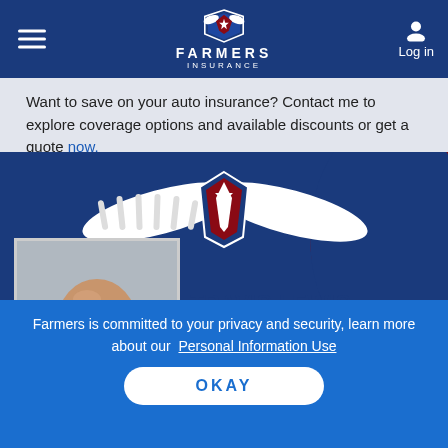FARMERS INSURANCE
Want to save on your auto insurance? Contact me to explore coverage options and available discounts or get a quote now.
[Figure (photo): Hero banner image showing a Farmers Insurance eagle logo/mascot against blue and red background]
[Figure (photo): Headshot photo of Travis Lewis, a bald smiling man in a blue shirt]
TRAVIS LEWIS
4.9 ★★★★★
64 Customer Reviews
Farmers Insurance Agent in Nixa, MO
Farmers is committed to your privacy and security, learn more about our Personal Information Use
OKAY